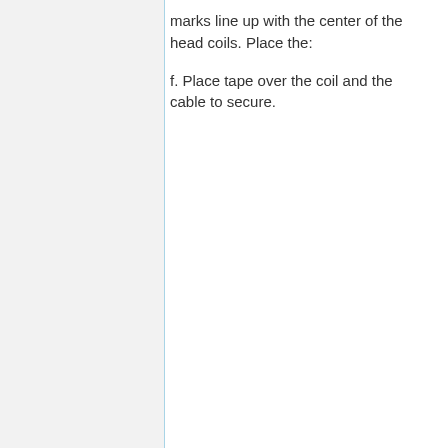marks line up with the center of the head coils. Place the:
f. Place tape over the coil and the cable to secure.